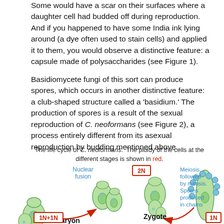Some would have a scar on their surfaces where a daughter cell had budded off during reproduction. And if you happened to have some India ink lying around (a dye often used to stain cells) and applied it to them, you would observe a distinctive feature: a capsule made of polysaccharides (see Figure 1).
Basidiomycete fungi of this sort can produce spores, which occurs in another distinctive feature: a club-shaped structure called a 'basidium.' The production of spores is a result of the sexual reproduction of C. neoformans (see Figure 2), a process entirely different from its asexual reproduction by budding mentioned above.
The life cycle of C. neoformans. The ploidy of the cells at the different stages is shown in red.
[Figure (illustration): Diagram of the C. neoformans life cycle showing: Nuclear fusion stage with two cells merging, Zygote (2N) stage, Meiosis followed by mitosis with spores produced in chains stage, Dikaryon (1N+1N) stage, and a 1N stage. Red curved arrows indicate the cycle direction. Ploidy badges 2N, 1N+1N, and 1N are shown in red-bordered boxes.]